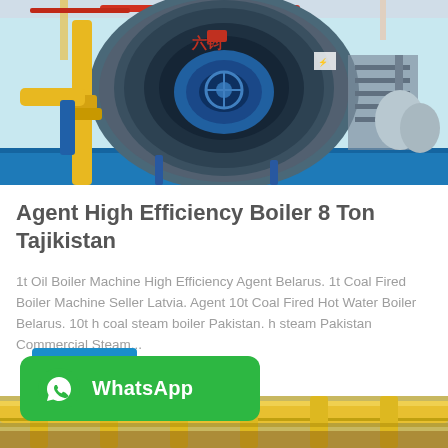[Figure (photo): Industrial boiler machine in a factory setting with blue cylindrical body, yellow pipes, red accents, and blue floor]
Agent High Efficiency Boiler 8 Ton Tajikistan
1t Oil Boiler Machine High Efficiency Agent Belarus. 1t Coal Fired Boiler Machine Seller Latvia. Agent 10t Coal Fired Hot Water Boiler Belarus. 10t h coal steam boiler Pakistan. h steam Pakistan Commercial Steam...
[Figure (screenshot): Get Price button (blue) partially visible behind WhatsApp banner]
[Figure (logo): WhatsApp contact button - green rounded rectangle with WhatsApp icon and text]
[Figure (photo): Bottom portion of industrial yellow pipes/boiler equipment]